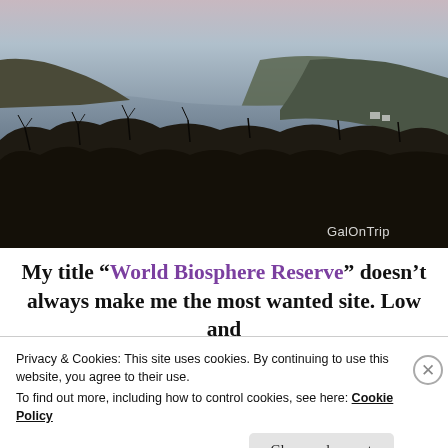[Figure (photo): Aerial/elevated view of a wide river winding through forested hills at dusk/twilight. Dark trees in foreground, calm water reflecting soft pink and grey sky. Watermark 'GalOnTrip' in lower right.]
My title “World Biosphere Reserve” doesn’t always make me the most wanted site. Low and
Privacy & Cookies: This site uses cookies. By continuing to use this website, you agree to their use.
To find out more, including how to control cookies, see here:
Cookie Policy
Close and accept